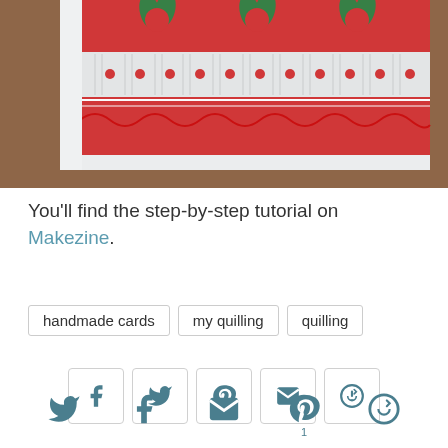[Figure (photo): A red handmade quilled card with decorative patterns including polka dots, wavy lines, and flower/bud embellishments on a white card base, photographed at an angle on a wooden surface.]
You'll find the step-by-step tutorial on Makezine.
handmade cards
my quilling
quilling
[Figure (infographic): Row of 5 social share icon buttons: Facebook (f), Twitter (bird), Pinterest (P), Email (envelope), Other (circle with arrow)]
[Figure (infographic): Bottom row of 5 social icons: Twitter, Facebook, Email, Pinterest (with count 1), Other (circle with arrow)]